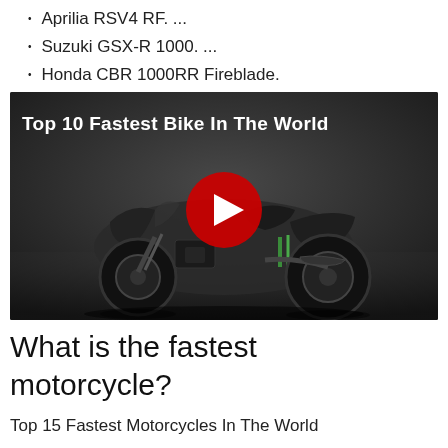Aprilia RSV4 RF. ...
Suzuki GSX-R 1000. ...
Honda CBR 1000RR Fireblade.
[Figure (screenshot): YouTube video thumbnail showing a Kawasaki Ninja H2 motorcycle on a dark background with the title 'Top 10 Fastest Bike In The World' in white bold text and a red YouTube play button in the center.]
What is the fastest motorcycle?
Top 15 Fastest Motorcycles In The World